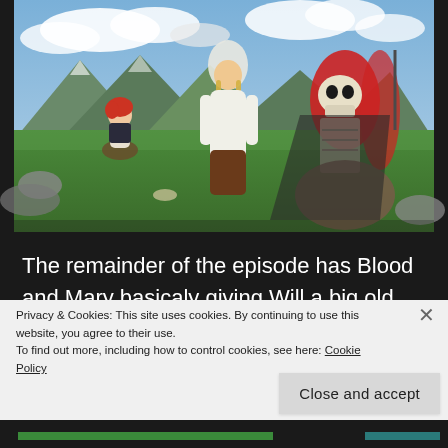[Figure (illustration): Anime scene screenshot showing three characters on a grassy hillside with mountains and cloudy sky in background. Left character is a small red-haired person kneeling, center is a tall blonde woman in white dress, right is a large skeletal creature with red hair/mane sitting on the ground.]
The remainder of the episode has Blood and Mary basicaly giving Will a big old infodump of all the things they kept from him until he was old enough to hear
Privacy & Cookies: This site uses cookies. By continuing to use this website, you agree to their use.
To find out more, including how to control cookies, see here: Cookie Policy
Close and accept